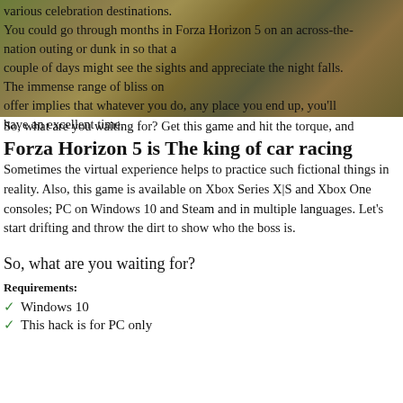[Figure (photo): Background photo of a racing car/dirt road scene with blurred motion, earthy brown and green tones]
various celebration destinations.
You could go through months in Forza Horizon 5 on an across-the-nation outing or dunk in so that a couple of days might see the sights and appreciate the night falls. The immense range of bliss on offer implies that whatever you do, any place you end up, you'll have an excellent time.
So, what are you waiting for? Get this game and hit the torque, and
Forza Horizon 5 is The king of car racing
Sometimes the virtual experience helps to practice such fictional things in reality. Also, this game is available on Xbox Series X|S and Xbox One consoles; PC on Windows 10 and Steam and in multiple languages. Let's start drifting and throw the dirt to show who the boss is.
So, what are you waiting for?
Requirements:
Windows 10
This hack is for PC only